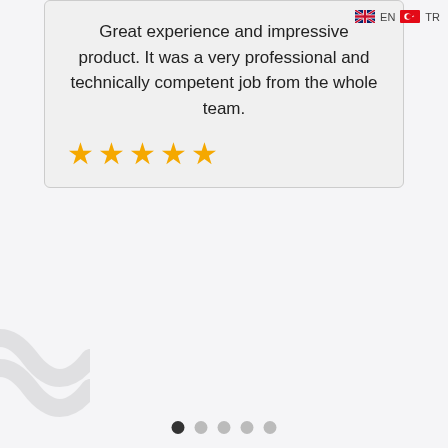Great experience and impressive product. It was a very professional and technically competent job from the whole team.
[Figure (other): Five golden/amber star rating icons displayed in a row beneath the review text]
[Figure (other): Carousel navigation dots: one dark (active) followed by four light gray dots]